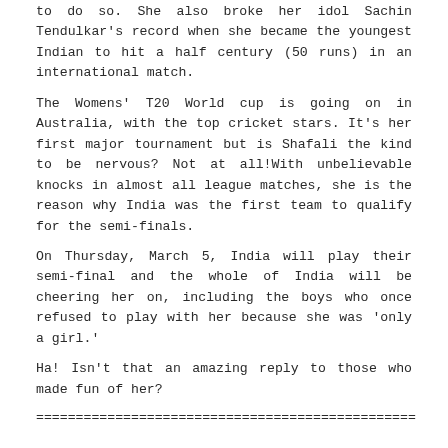to do so. She also broke her idol Sachin Tendulkar's record when she became the youngest Indian to hit a half century (50 runs) in an international match.
The Womens' T20 World cup is going on in Australia, with the top cricket stars. It's her first major tournament but is Shafali the kind to be nervous? Not at all!With unbelievable knocks in almost all league matches, she is the reason why India was the first team to qualify for the semi-finals.
On Thursday, March 5, India will play their semi-final and the whole of India will be cheering her on, including the boys who once refused to play with her because she was 'only a girl.'
Ha! Isn't that an amazing reply to those who made fun of her?
================================================